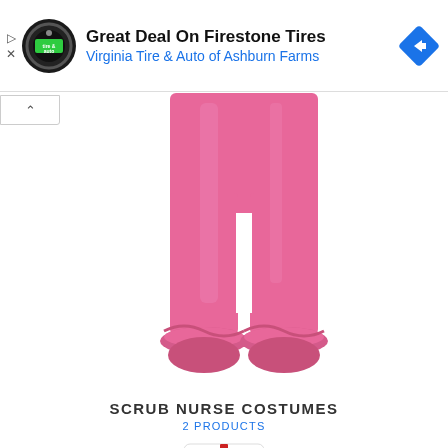[Figure (screenshot): Advertisement banner for Virginia Tire & Auto of Ashburn Farms showing Firestone Tires deal, with circular tire & auto logo and blue navigation diamond icon]
[Figure (photo): Lower legs and feet wearing pink scrub pants with ruffled ankles, costume product image]
SCRUB NURSE COSTUMES
2 PRODUCTS
[Figure (photo): Woman wearing white nurse costume with red cross hat and stethoscope, costume product image]